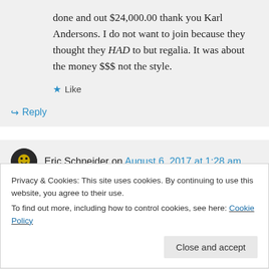done and out $24,000.00 thank you Karl Andersons. I do not want to join because they thought they HAD to but regalia. It was about the money $$$ not the style.
★ Like
↪ Reply
Eric Schneider on August 6, 2017 at 1:28 am
Privacy & Cookies: This site uses cookies. By continuing to use this website, you agree to their use.
To find out more, including how to control cookies, see here: Cookie Policy
Close and accept
person and agree that better systems can